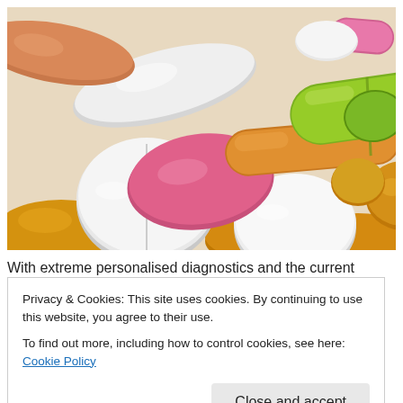[Figure (photo): Close-up photograph of a colorful assortment of pills and capsules including white round tablets, pink oval tablets, orange and green capsules, yellow/orange round tablets, against a white background.]
With extreme personalised diagnostics and the current
Privacy & Cookies: This site uses cookies. By continuing to use this website, you agree to their use.
To find out more, including how to control cookies, see here: Cookie Policy
Close and accept